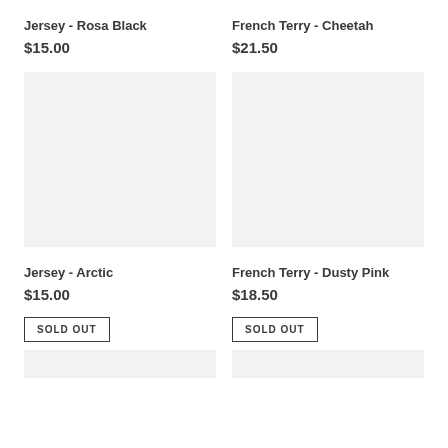Jersey - Rosa Black
$15.00
French Terry - Cheetah
$21.50
[Figure (photo): Product image placeholder for Jersey - Arctic, light gray rectangle]
[Figure (photo): Product image placeholder for French Terry - Dusty Pink, light gray rectangle]
Jersey - Arctic
$15.00
SOLD OUT
French Terry - Dusty Pink
$18.50
SOLD OUT
[Figure (photo): Product image placeholder bottom left, light gray rectangle]
[Figure (photo): Product image placeholder bottom right, light gray rectangle]